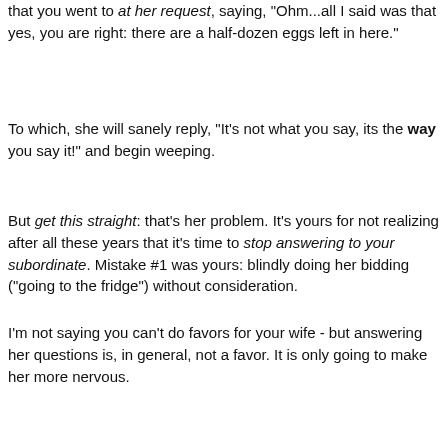that you went to at her request, saying, "Ohm...all I said was that yes, you are right: there are a half-dozen eggs left in here."
To which, she will sanely reply, "It's not what you say, its the way you say it!" and begin weeping.
But get this straight: that's her problem. It's yours for not realizing after all these years that it's time to stop answering to your subordinate. Mistake #1 was yours: blindly doing her bidding ("going to the fridge") without consideration.
I'm not saying you can't do favors for your wife - but answering her questions is, in general, not a favor. It is only going to make her more nervous.
("Oh my God, he actually answered my question about that girl with more than two sentences. He's IN LOVE WITH HER!!! The cheating bastard.")
Good answers to a woman are like a good Indian to General Sheridan - dead. She isn't listening to your words